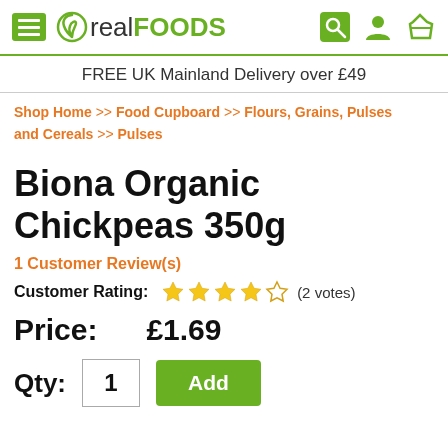real FOODS — FREE UK Mainland Delivery over £49
Shop Home >> Food Cupboard >> Flours, Grains, Pulses and Cereals >> Pulses
Biona Organic Chickpeas 350g
1 Customer Review(s)
Customer Rating: ★★★★☆ (2 votes)
Price:   £1.69
Qty: 1  Add